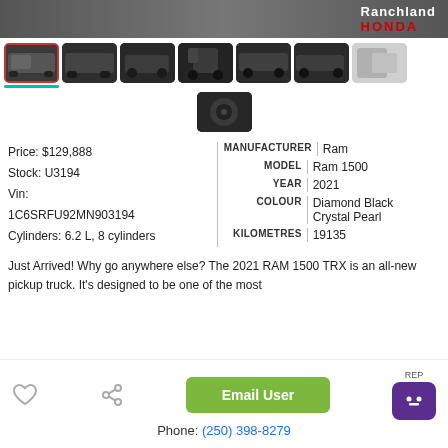[Figure (screenshot): Ranchland Honda dealer banner header, dark grey background with white 'Ranchland' and red 'HONDA' text]
[Figure (photo): Grid of 8 thumbnail photos of a 2021 RAM 1500 TRX pickup truck from various angles, dark coloured truck]
Price: $129,888
Stock: U3194
Vin:
1C6SRFU92MN903194
Cylinders: 6.2 L, 8 cylinders
| LABEL | VALUE |
| --- | --- |
| MANUFACTURER | Ram |
| MODEL | Ram 1500 |
| YEAR | 2021 |
| COLOUR | Diamond Black Crystal Pearl |
| KILOMETRES | 19135 |
Just Arrived! Why go anywhere else? The 2021 RAM 1500 TRX is an all-new pickup truck. It's designed to be one of the most
Email User
Phone: (250) 398-8279